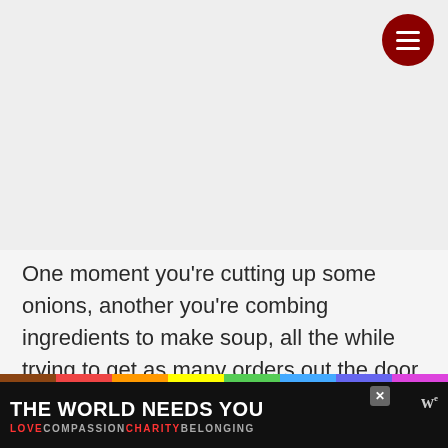[Figure (illustration): Light gray placeholder image area occupying the top portion of the page]
One moment you're cutting up some onions, another you're combing ingredients to make soup, all the while trying to get as many orders out the door before the timer runs out.
While it sounds easy enough on the surface, things get... ents, task...
[Figure (infographic): Advertisement banner: black background with rainbow stripe at top. Large white bold text reads 'THE WORLD NEEDS YOU' with an X close button. Below in colored text: LOVE (red) COMPASSION (gray) CHARITY (red) BELONGING (gray). W logo with superscript in the corner.]